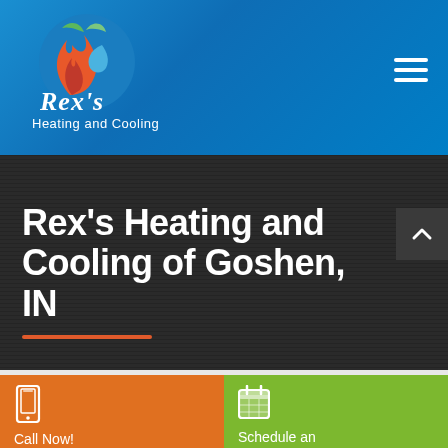[Figure (logo): Rex's Heating and Cooling logo with flame and leaf graphic on blue circular background, with cursive and sans-serif text]
[Figure (other): Hamburger menu icon (three horizontal white lines) in top right of blue header]
Rex's Heating and Cooling of Goshen, IN
[Figure (other): Scroll-up chevron arrow button on dark background]
[Figure (other): Phone/mobile icon on orange background]
Call Now!
(574) 500-2867
[Figure (other): Calendar icon on green background]
Schedule an Appointment